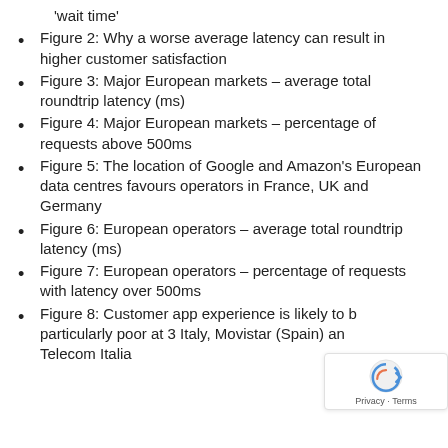'wait time'
Figure 2: Why a worse average latency can result in higher customer satisfaction
Figure 3: Major European markets – average total roundtrip latency (ms)
Figure 4: Major European markets – percentage of requests above 500ms
Figure 5: The location of Google and Amazon's European data centres favours operators in France, UK and Germany
Figure 6: European operators – average total roundtrip latency (ms)
Figure 7: European operators – percentage of requests with latency over 500ms
Figure 8: Customer app experience is likely to be particularly poor at 3 Italy, Movistar (Spain) and Telecom Italia